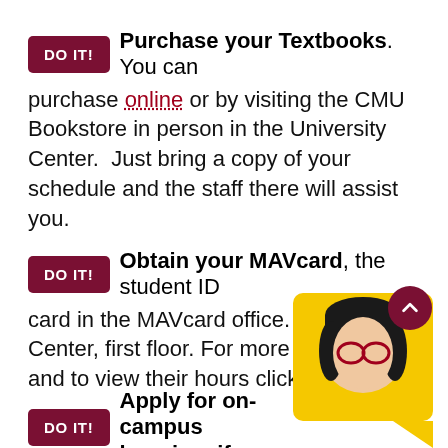DO IT! Purchase your Textbooks. You can purchase online or by visiting the CMU Bookstore in person in the University Center. Just bring a copy of your schedule and the staff there will assist you.
DO IT! Obtain your MAVcard, the student ID card in the MAVcard office. University Center, first floor. For more information and to view their hours click here.
DO IT! Apply for on-campus housing, if